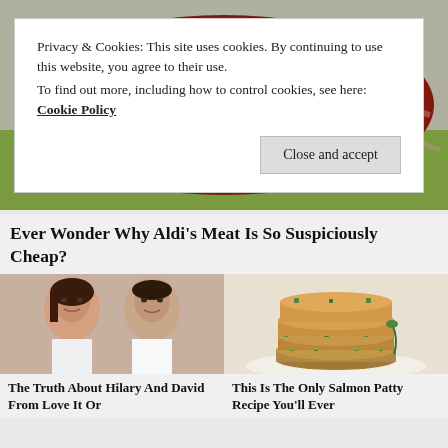[Figure (photo): Close-up photo of raw red meat / beef]
Privacy & Cookies: This site uses cookies. By continuing to use this website, you agree to their use.
To find out more, including how to control cookies, see here: Cookie Policy
Close and accept
Ever Wonder Why Aldi's Meat Is So Suspiciously Cheap?
[Figure (photo): Photo of a woman and a man smiling (Hilary and David from Love It Or List It)]
[Figure (photo): Photo of stacked salmon patties / salmon cakes with green herbs]
The Truth About Hilary And David From Love It Or
This Is The Only Salmon Patty Recipe You'll Ever